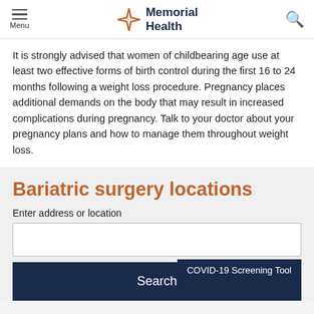Menu | Memorial Health | Search
It is strongly advised that women of childbearing age use at least two effective forms of birth control during the first 16 to 24 months following a weight loss procedure. Pregnancy places additional demands on the body that may result in increased complications during pregnancy. Talk to your doctor about your pregnancy plans and how to manage them throughout weight loss.
Bariatric surgery locations
Enter address or location
Search